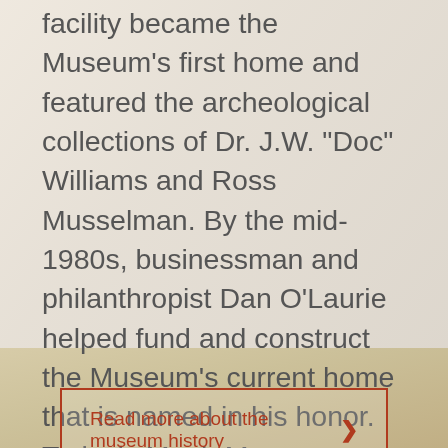facility became the Museum's first home and featured the archeological collections of Dr. J.W. "Doc" Williams and Ross Musselman. By the mid-1980s, businessman and philanthropist Dan O'Laurie helped fund and construct the Museum's current home that is named in his honor. Today's Moab Museum remains a small museum with big stories.
Read more about the museum history ›